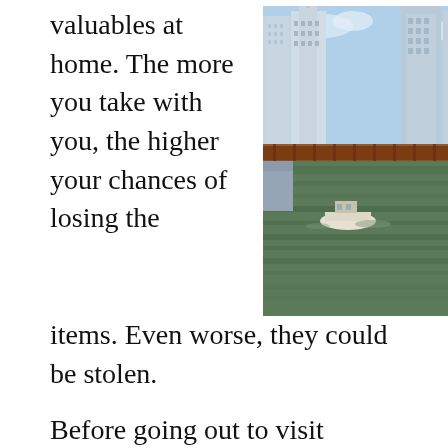valuables at home. The more you take with you, the higher your chances of losing the items. Even worse, they could be stolen.
[Figure (photo): Aerial/street-level view of a city river scene with tall skyscrapers, a bridge, and a boat on the water on a sunny day.]
Before going out to visit attractions for the day, always ask someone at the hotel for directions. You may have gotten map directions there, but those directions may take you to parts of town that are unsafe. A hotel employee will most likely be able to guide you there in a way that avoids an dangerous areas.
Never share bottle water with anyone you meet...